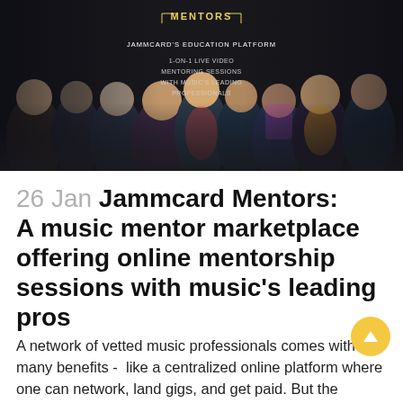[Figure (photo): Group photo of music professionals with text overlay: MENTORS, JAMMCARD'S EDUCATION PLATFORM, 1-ON-1 LIVE VIDEO MENTORING SESSIONS WITH MUSIC'S LEADING PROFESSIONALS. Dark background with multiple people including musicians.]
26 Jan Jammcard Mentors: A music mentor marketplace offering online mentorship sessions with music's leading pros
A network of vetted music professionals comes with many benefits -  like a centralized online platform where one can network, land gigs, and get paid. But the